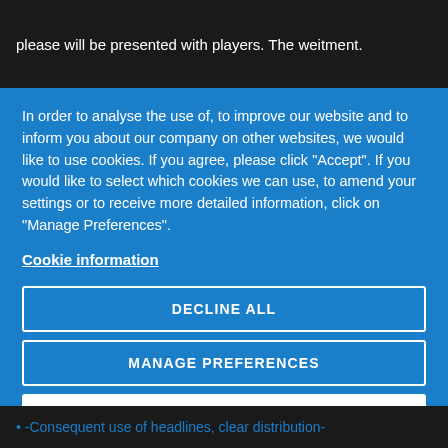please will be presented with players. The weitment.
In order to analyse the use of, to improve our website and to inform you about our company on other websites, we would like to use cookies. If you agree, please click "Accept". If you would like to select which cookies we can use, to amend your settings or to receive more detailed information, click on "Manage Preferences".
Cookie information
DECLINE ALL
MANAGE PREFERENCES
ACCEPT
• -Consequent use of headlines, clear distribution-